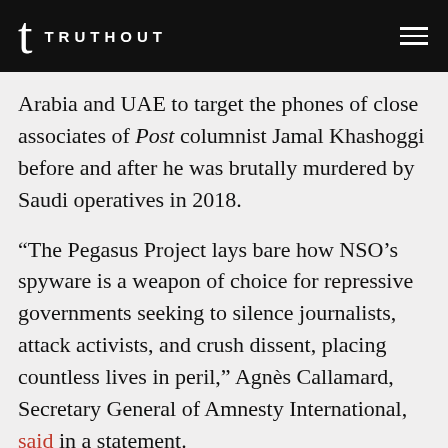TRUTHOUT
Arabia and UAE to target the phones of close associates of Post columnist Jamal Khashoggi before and after he was brutally murdered by Saudi operatives in 2018.
“The Pegasus Project lays bare how NSO’s spyware is a weapon of choice for repressive governments seeking to silence journalists, attack activists, and crush dissent, placing countless lives in peril,” Agnès Callamard, Secretary General of Amnesty International, said in a statement.